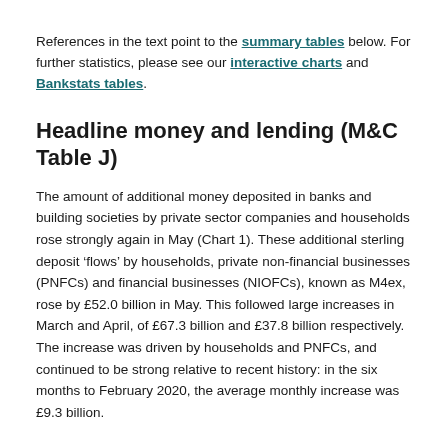References in the text point to the summary tables below. For further statistics, please see our interactive charts and Bankstats tables.
Headline money and lending (M&C Table J)
The amount of additional money deposited in banks and building societies by private sector companies and households rose strongly again in May (Chart 1). These additional sterling deposit ‘flows’ by households, private non-financial businesses (PNFCs) and financial businesses (NIOFCs), known as M4ex, rose by £52.0 billion in May. This followed large increases in March and April, of £67.3 billion and £37.8 billion respectively. The increase was driven by households and PNFCs, and continued to be strong relative to recent history: in the six months to February 2020, the average monthly increase was £9.3 billion.